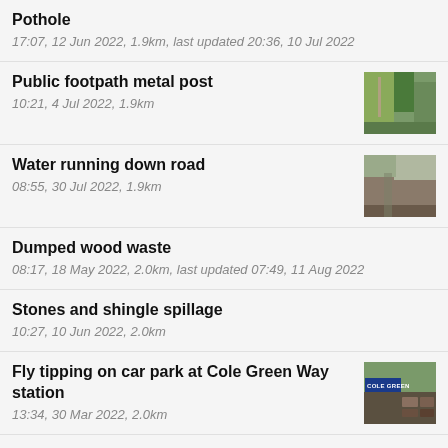Pothole
17:07, 12 Jun 2022, 1.9km, last updated 20:36, 10 Jul 2022
Public footpath metal post
10:21, 4 Jul 2022, 1.9km
Water running down road
08:55, 30 Jul 2022, 1.9km
Dumped wood waste
08:17, 18 May 2022, 2.0km, last updated 07:49, 11 Aug 2022
Stones and shingle spillage
10:27, 10 Jun 2022, 2.0km
Fly tipping on car park at Cole Green Way station
13:34, 30 Mar 2022, 2.0km
2years growth of grass